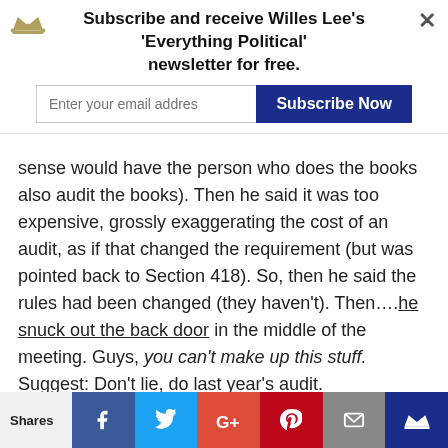[Figure (other): Newsletter subscription banner with crown icon, close button, email input field, and Subscribe Now button. Text: Subscribe and receive Willes Lee's 'Everything Political' newsletter for free.]
sense would have the person who does the books also audit the books). Then he said it was too expensive, grossly exaggerating the cost of an audit, as if that changed the requirement (but was pointed back to Section 418). So, then he said the rules had been changed (they haven't). Then….he snuck out the back door in the middle of the meeting. Guys, you can't make up this stuff. Suggest: Don't lie, do last year's audit.
-Instead of encouraging more & open meetings, HRP proposed a couple motions to make meetings more difficult. District chair "Big Brother taking over!" Reader "The timing of these new proposed policies is pretty suspect. CONTROL and PARANOIA seem to be at the
[Figure (other): Social share bar with Shares label, Facebook, Twitter, Google+, Pinterest, Email, and crown/bookmark icons]